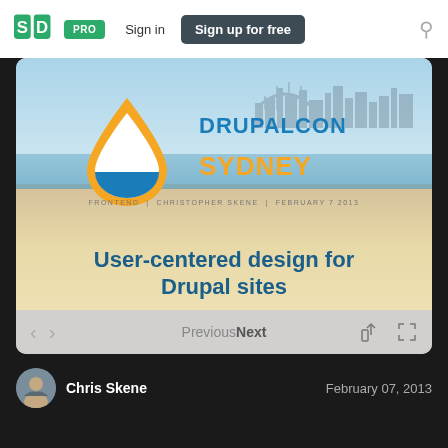SpeakerDeck — PRO | Sign in | Sign up for free
[Figure (screenshot): SlideShare/SpeakerDeck slide viewer showing a DrupalCon Sydney presentation titled 'User-centered design for Drupal sites' by Christopher Skene, February 7, 2013. Slide has a beach/sky background with the DrupalCon Sydney logo (water drop with Opera house silhouette). Navigation shows Previous/Next controls.]
Chris Skene
February 07, 2013